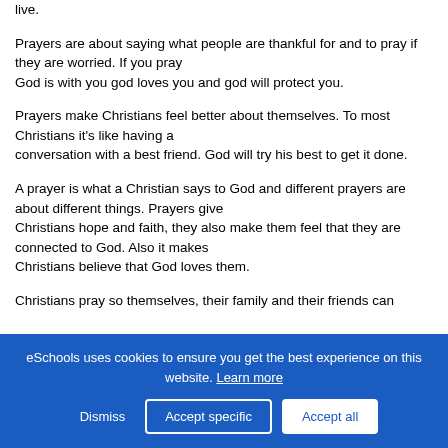live.
Prayers are about saying what people are thankful for and to pray if they are worried. If you pray
God is with you god loves you and god will protect you.
Prayers make Christians feel better about themselves. To most Christians it's like having a
conversation with a best friend. God will try his best to get it done.
A prayer is what a Christian says to God and different prayers are about different things. Prayers give
Christians hope and faith, they also make them feel that they are connected to God. Also it makes
Christians believe that God loves them.
Christians pray so themselves, their family and their friends can
eSchools uses cookies to ensure you get the best experience on this website. Learn more
Dismiss   Accept specific   Accept all